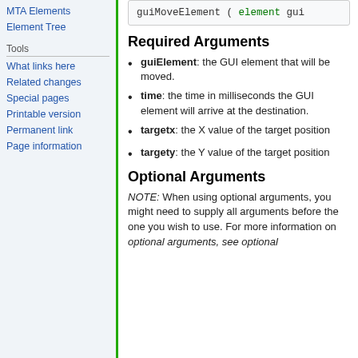MTA Elements
Element Tree
Tools
What links here
Related changes
Special pages
Printable version
Permanent link
Page information
[Figure (screenshot): Code box showing: guiMoveElement ( element gui]
Required Arguments
guiElement: the GUI element that will be moved.
time: the time in milliseconds the GUI element will arrive at the destination.
targetx: the X value of the target position
targety: the Y value of the target position
Optional Arguments
NOTE: When using optional arguments, you might need to supply all arguments before the one you wish to use. For more information on optional arguments, see optional